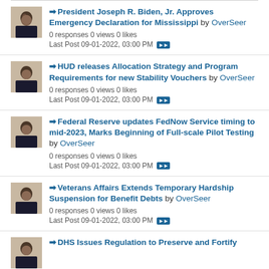President Joseph R. Biden, Jr. Approves Emergency Declaration for Mississippi by OverSeer. 0 responses 0 views 0 likes. Last Post 09-01-2022, 03:00 PM
HUD releases Allocation Strategy and Program Requirements for new Stability Vouchers by OverSeer. 0 responses 0 views 0 likes. Last Post 09-01-2022, 03:00 PM
Federal Reserve updates FedNow Service timing to mid-2023, Marks Beginning of Full-scale Pilot Testing by OverSeer. 0 responses 0 views 0 likes. Last Post 09-01-2022, 03:00 PM
Veterans Affairs Extends Temporary Hardship Suspension for Benefit Debts by OverSeer. 0 responses 0 views 0 likes. Last Post 09-01-2022, 03:00 PM
DHS Issues Regulation to Preserve and Fortify...